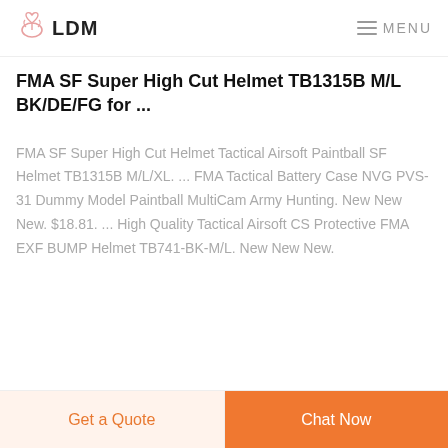LDM  MENU
FMA SF Super High Cut Helmet TB1315B M/L BK/DE/FG for ...
FMA SF Super High Cut Helmet Tactical Airsoft Paintball SF Helmet TB1315B M/L/XL. ... FMA Tactical Battery Case NVG PVS-31 Dummy Model Paintball MultiCam Army Hunting. New New New. $18.81. ... High Quality Tactical Airsoft CS Protective FMA EXF BUMP Helmet TB741-BK-M/L. New New New.
Get a Quote  Chat Now